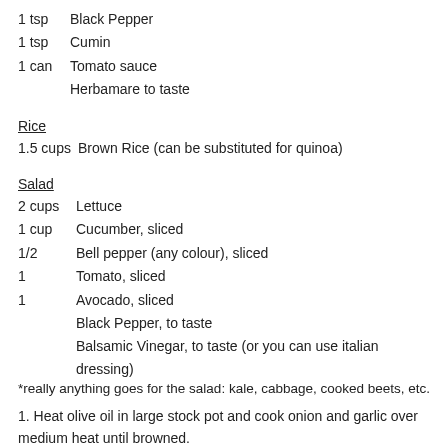1 tsp   Black Pepper
1 tsp   Cumin
1 can   Tomato sauce
Herbamare to taste
Rice
1.5 cups  Brown Rice (can be substituted for quinoa)
Salad
2 cups  Lettuce
1 cup   Cucumber, sliced
1/2     Bell pepper (any colour), sliced
1       Tomato, sliced
1       Avocado, sliced
Black Pepper, to taste
Balsamic Vinegar, to taste (or you can use italian dressing)
*really anything goes for the salad: kale, cabbage, cooked beets, etc.
1. Heat olive oil in large stock pot and cook onion and garlic over medium heat until browned.